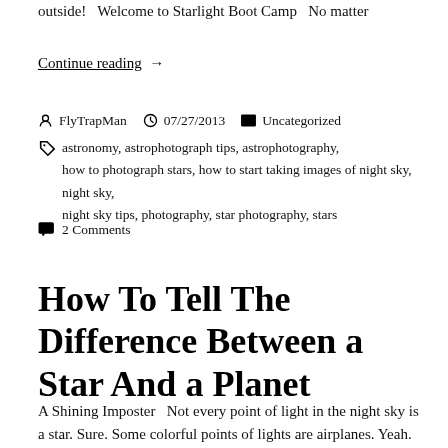outside!   Welcome to Starlight Boot Camp   No matter
Continue reading  →
FlyTrapMan  07/27/2013  Uncategorized
astronomy, astrophotograph tips, astrophotography, how to photograph stars, how to start taking images of night sky, night sky, night sky tips, photography, star photography, stars
2 Comments
How To Tell The Difference Between a Star And a Planet
A Shining Imposter   Not every point of light in the night sky is a star. Sure. Some colorful points of lights are airplanes. Yeah. We all know that. But did you know it's possible to see siblings of our